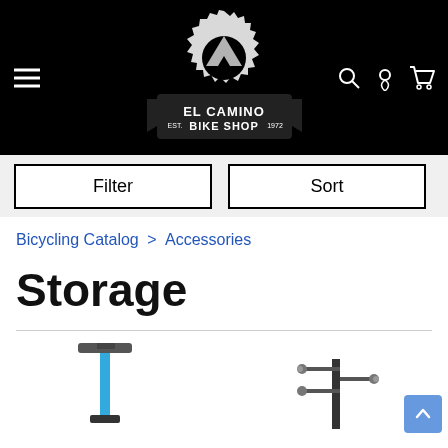[Figure (logo): El Camino Bike Shop logo with gear/sprocket shape on black background, EST. 1972, with hamburger menu icon on left and search/location/cart icons on right]
Filter
Sort
Bicycling Catalog > Accessories
Storage
[Figure (photo): Two bike storage products partially visible at bottom: left shows a blue floor stand, right shows a multi-arm bike rack stand]